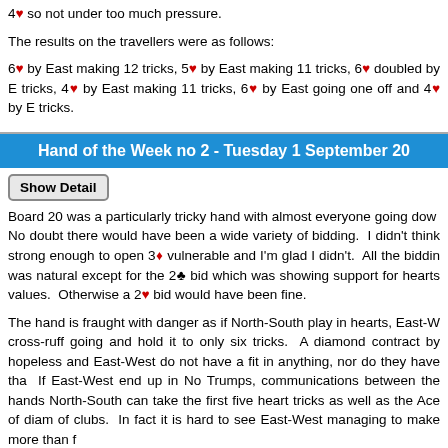4♥ so not under too much pressure.
The results on the travellers were as follows:
6♥ by East making 12 tricks, 5♥ by East making 11 tricks, 6♥ doubled by E tricks, 4♥ by East making 11 tricks, 6♥ by East going one off and 4♥ by E tricks.
Hand of the Week no 2 - Tuesday 1 September 20
Show Detail
Board 20 was a particularly tricky hand with almost everyone going down. No doubt there would have been a wide variety of bidding. I didn't think strong enough to open 3♦ vulnerable and I'm glad I didn't. All the bidding was natural except for the 2♣ bid which was showing support for hearts values. Otherwise a 2♥ bid would have been fine.
The hand is fraught with danger as if North-South play in hearts, East-W cross-ruff going and hold it to only six tricks. A diamond contract by hopeless and East-West do not have a fit in anything, nor do they have tha If East-West end up in No Trumps, communications between the hands North-South can take the first five heart tricks as well as the Ace of diam of clubs. In fact it is hard to see East-West managing to make more than f
The best spot for East-West appears to be a part-score in spades though breaks badly.
John played in 3♠ and the defence started with three rounds of hearts. 3 third round (seriously shortening his trump holding), then played Ace an which he ruffed in dummy. He then played the King of diamonds, beaten b ruffed in hand. Then he ruffed a second club in dummy and cashed